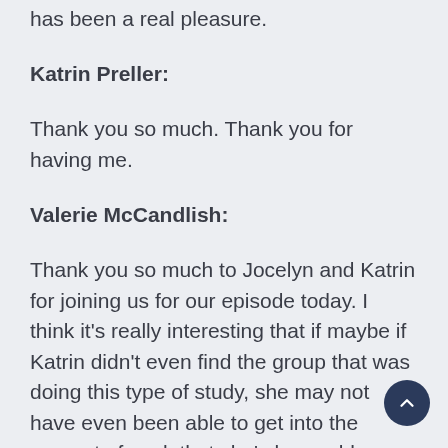has been a real pleasure.
Katrin Preller:
Thank you so much. Thank you for having me.
Valerie McCandlish:
Thank you so much to Jocelyn and Katrin for joining us for our episode today. I think it's really interesting that if maybe if Katrin didn't even find the group that was doing this type of study, she may not have even been able to get into the amount of work that she's been able you achieve so far. So it kind of goes to show that really exploring all the potential avenues, or sometimes you just happen